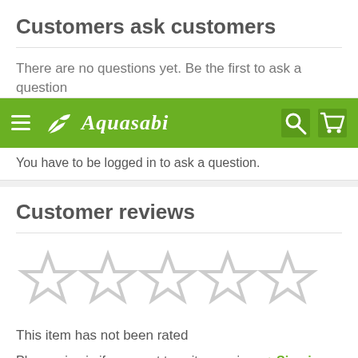Customers ask customers
There are no questions yet. Be the first to ask a question about this product.
[Figure (screenshot): Aquasabi website navigation bar with green background, hamburger menu icon, Aquasabi logo with plant icon, search icon, and shopping cart icon]
You have to be logged in to ask a question.
Customer reviews
[Figure (other): Five empty/outline star rating icons in light gray]
This item has not been rated
Please sign in if you want to write a review. ➔ Sign in
5 Stars (0)